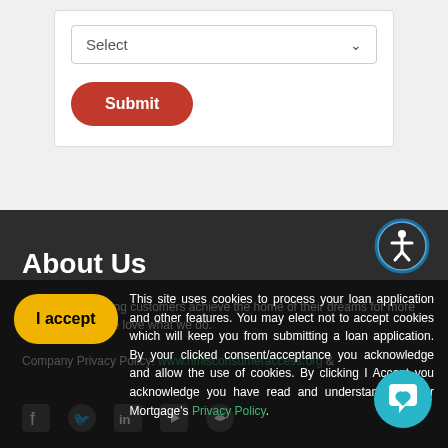[Figure (screenshot): A form UI element showing a dropdown select box with placeholder text 'Select' and a dropdown arrow, followed by a red rounded 'Submit' button below it.]
About Us
We've been helping customers achieve the home of their dreams for more than 20 years. We love what we do.

Company Privacy Policy: www.nmlsconsumeraccess.org &
This site uses cookies to process your loan application and other features. You may elect not to accept cookies which will keep you from submitting a loan application. By your clicked consent/acceptance you acknowledge and allow the use of cookies. By clicking I Accept you acknowledge you have read and understand Premier Mortgage's Privacy Policy.